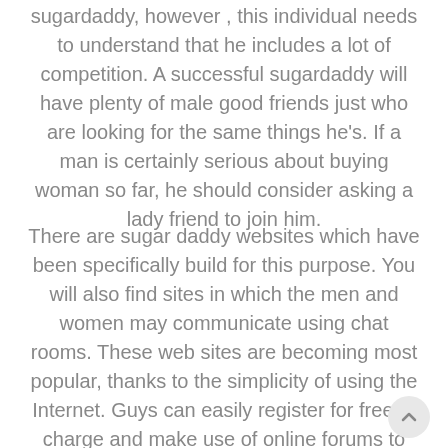sugardaddy, however , this individual needs to understand that he includes a lot of competition. A successful sugardaddy will have plenty of male good friends just who are looking for the same things he's. If a man is certainly serious about buying woman so far, he should consider asking a lady friend to join him.
There are sugar daddy websites which have been specifically build for this purpose. You will also find sites in which the men and women may communicate using chat rooms. These web sites are becoming most popular, thanks to the simplicity of using the Internet. Guys can easily register for free of charge and make use of online forums to speak with other males. There are a few guidelines to remember the moment trying to find sugar daddy in the United States.